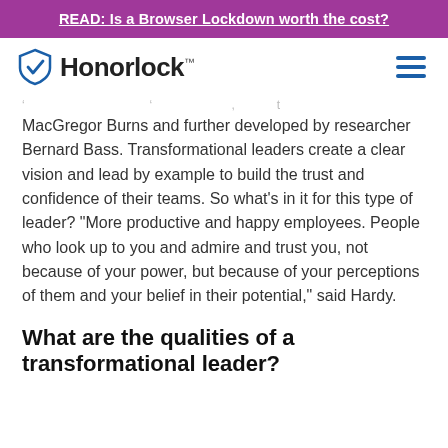READ: Is a Browser Lockdown worth the cost?
[Figure (logo): Honorlock logo with shield checkmark icon]
MacGregor Burns and further developed by researcher Bernard Bass. Transformational leaders create a clear vision and lead by example to build the trust and confidence of their teams. So what’s in it for this type of leader? “More productive and happy employees. People who look up to you and admire and trust you, not because of your power, but because of your perceptions of them and your belief in their potential,” said Hardy.
What are the qualities of a transformational leader?